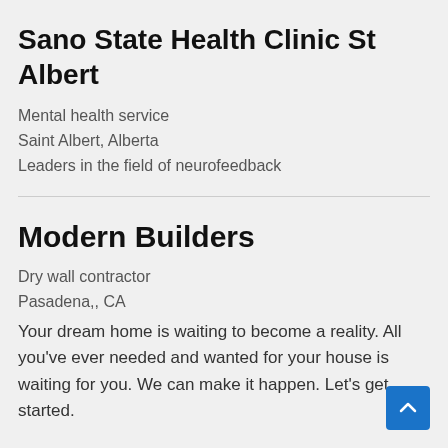Sano State Health Clinic St Albert
Mental health service
Saint Albert, Alberta
Leaders in the field of neurofeedback
Modern Builders
Dry wall contractor
Pasadena,, CA
Your dream home is waiting to become a reality. All you've ever needed and wanted for your house is waiting for you. We can make it happen. Let's get started.